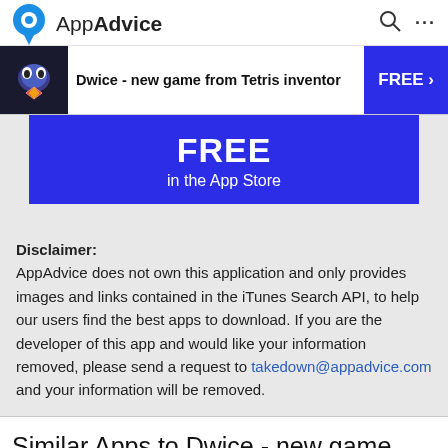AppAdvice
[Figure (screenshot): AppAdvice website screenshot showing an ad banner for 'Dwice - new game from Tetris inventor' with a FREE button, a blue promotional box showing FREE in the App Store, a disclaimer section, and Similar Apps heading.]
Disclaimer:
AppAdvice does not own this application and only provides images and links contained in the iTunes Search API, to help our users find the best apps to download. If you are the developer of this app and would like your information removed, please send a request to takedown@appadvice.com and your information will be removed.
Similar Apps to Dwice - new game from